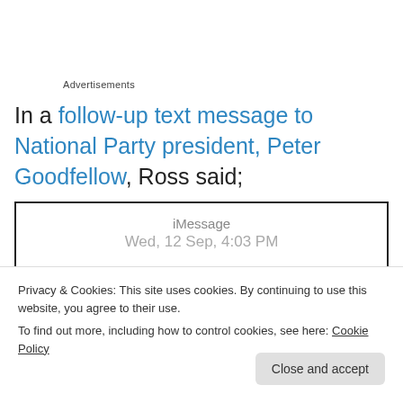Advertisements
In a follow-up text message to National Party president, Peter Goodfellow, Ross said;
[Figure (screenshot): iMessage screenshot showing header 'iMessage / Wed, 12 Sep, 4:03 PM' with blue message bubble partially visible at bottom reading 'to do this. Funds were']
Privacy & Cookies: This site uses cookies. By continuing to use this website, you agree to their use.
To find out more, including how to control cookies, see here: Cookie Policy
Close and accept